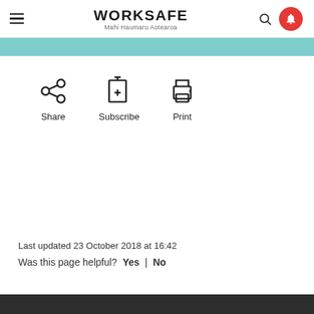WORKSAFE Mahi Haumaru Aotearoa
[Figure (infographic): Teal decorative banner bar]
[Figure (infographic): Share, Subscribe, Print action icons]
Last updated 23 October 2018 at 16:42
Was this page helpful?  Yes  |  No